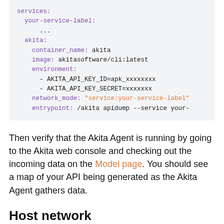[Figure (screenshot): Code block showing Docker Compose YAML configuration for Akita service with container_name, image, environment variables, network_mode, and entrypoint]
Then verify that the Akita Agent is running by going to the Akita web console and checking out the incoming data on the Model page. You should see a map of your API being generated as the Akita Agent gathers data.
Host network